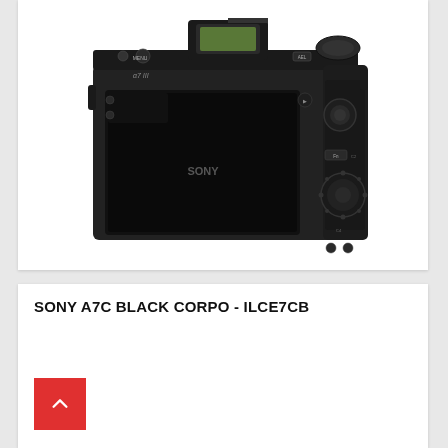[Figure (photo): Back view of Sony Alpha a7 III mirrorless camera body in black, showing the rear LCD screen, viewfinder, control dials and buttons including MENU, AF joystick, custom buttons Fn, C3, C4, AEL, and Sony branding on the LCD panel.]
SONY A7C BLACK CORPO - ILCE7CB